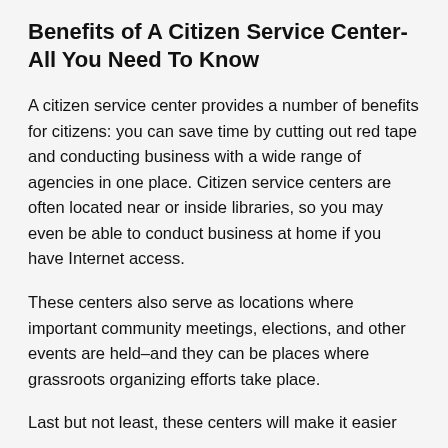Benefits of A Citizen Service Center- All You Need To Know
A citizen service center provides a number of benefits for citizens: you can save time by cutting out red tape and conducting business with a wide range of agencies in one place. Citizen service centers are often located near or inside libraries, so you may even be able to conduct business at home if you have Internet access.
These centers also serve as locations where important community meetings, elections, and other events are held–and they can be places where grassroots organizing efforts take place.
Last but not least, these centers will make it easier